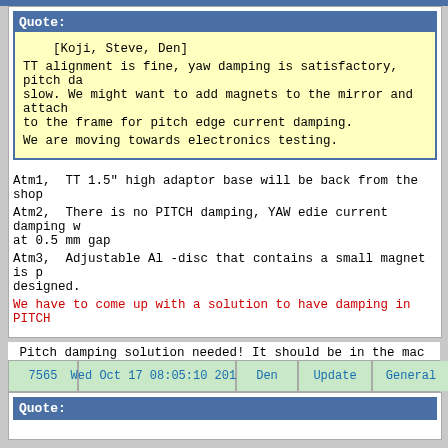Quote:
[Koji, Steve, Den]

TT alignment is fine, yaw damping is satisfactory, pitch da slow. We might want to add magnets to the mirror and attach to the frame for pitch edge current damping.

We are moving towards electronics testing.
Atm1,  TT 1.5" high adaptor base will be back from the shop

Atm2,  There is no PITCH damping, YAW edie current damping w at 0.5 mm gap

Atm3,  Adjustable Al -disc that contains a small magnet is p designed.

We have to come up with a solution to have damping in PITCH
Pitch damping solution needed! It should be in the mac already.
| 7565 | Wed Oct 17 08:05:10 2012 | Den | Update | General |
| --- | --- | --- | --- | --- |
Quote: